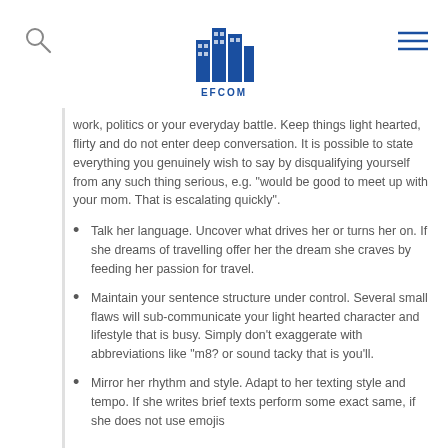EFCOM
work, politics or your everyday battle. Keep things light hearted, flirty and do not enter deep conversation. It is possible to state everything you genuinely wish to say by disqualifying yourself from any such thing serious, e.g. “would be good to meet up with your mom. That is escalating quickly”.
Talk her language. Uncover what drives her or turns her on. If she dreams of travelling offer her the dream she craves by feeding her passion for travel.
Maintain your sentence structure under control. Several small flaws will sub-communicate your light hearted character and lifestyle that is busy. Simply don’t exaggerate with abbreviations like “m8? or sound tacky that is you’ll.
Mirror her rhythm and style. Adapt to her texting style and tempo. If she writes brief texts perform some exact same, if she does not use emojis